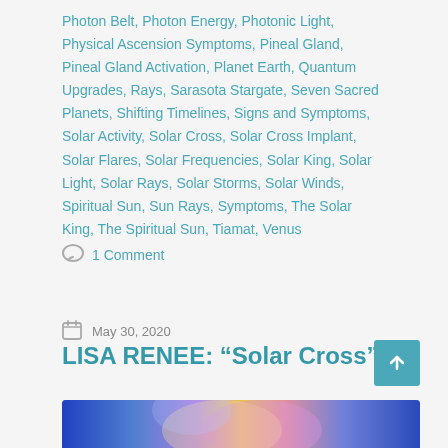Photon Belt, Photon Energy, Photonic Light, Physical Ascension Symptoms, Pineal Gland, Pineal Gland Activation, Planet Earth, Quantum Upgrades, Rays, Sarasota Stargate, Seven Sacred Planets, Shifting Timelines, Signs and Symptoms, Solar Activity, Solar Cross, Solar Cross Implant, Solar Flares, Solar Frequencies, Solar King, Solar Light, Solar Rays, Solar Storms, Solar Winds, Spiritual Sun, Sun Rays, Symptoms, The Solar King, The Spiritual Sun, Tiamat, Venus
1 Comment
May 30, 2020
LISA RENEE: “Solar Cross”
[Figure (photo): Colorful abstract spiritual/cosmic image with blue, purple, pink, orange and yellow light patterns]